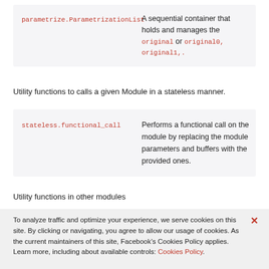| Name | Description |
| --- | --- |
| parametrize.ParametrizationList | A sequential container that holds and manages the original or original0, original1,. |
Utility functions to calls a given Module in a stateless manner.
| Name | Description |
| --- | --- |
| stateless.functional_call | Performs a functional call on the module by replacing the module parameters and buffers with the provided ones. |
Utility functions in other modules
To analyze traffic and optimize your experience, we serve cookies on this site. By clicking or navigating, you agree to allow our usage of cookies. As the current maintainers of this site, Facebook’s Cookies Policy applies. Learn more, including about available controls: Cookies Policy.